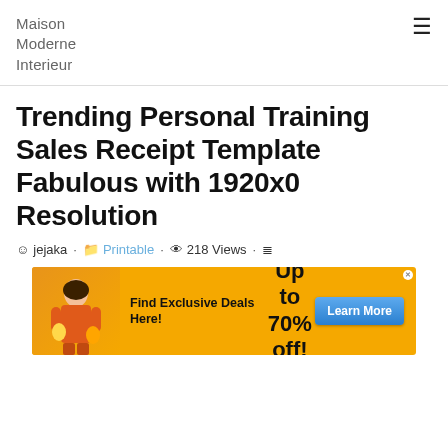Maison Moderne Interieur
Trending Personal Training Sales Receipt Template Fabulous with 1920x0 Resolution
jejaka · Printable · 218 Views ·
[Figure (other): Advertisement banner with yellow background showing a woman with shopping bags, text 'Find Exclusive Deals Here!', 'Up to 70% off!', and a blue 'Learn More' button]